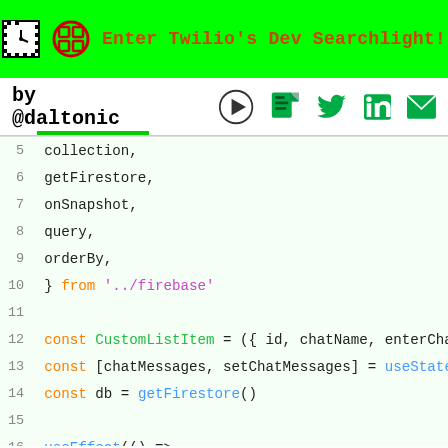Enter Twilio's Dev Searchlight!
by @daltonic
[Figure (screenshot): Code editor showing JavaScript/React code lines 5-20 with syntax highlighting. Lines show imports (collection, getFirestore, onSnapshot, query, orderBy) from '../firebase', then const CustomListItem component definition with useState, getFirestore, useEffect, onSnapshot, query, collection, orderBy function calls.]